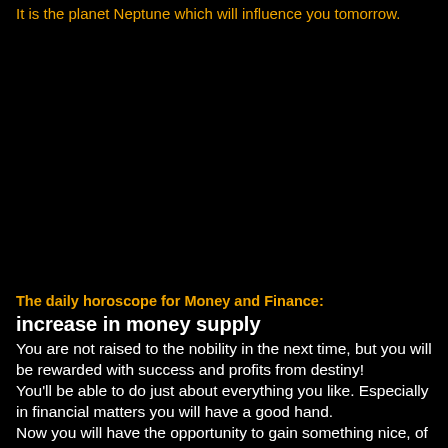It is the planet Neptune which will influence you tomorrow.
The daily horoscope for Money and Finance:
increase in money supply
You are not raised to the nobility in the next time, but you will be rewarded with success and profits from destiny! You'll be able to do just about everything you like. Especially in financial matters you will have a good hand. Now you will have the opportunity to gain something nice, of